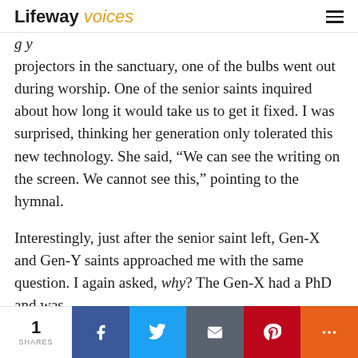Lifeway voices
g y
projectors in the sanctuary, one of the bulbs went out during worship. One of the senior saints inquired about how long it would take us to get it fixed. I was surprised, thinking her generation only tolerated this new technology. She said, “We can see the writing on the screen. We cannot see this,” pointing to the hymnal.
Interestingly, just after the senior saint left, Gen-X and Gen-Y saints approached me with the same question. I again asked, why? The Gen-X had a PhD and was
1 SHARES | Facebook | Twitter | Email | Pinterest | More